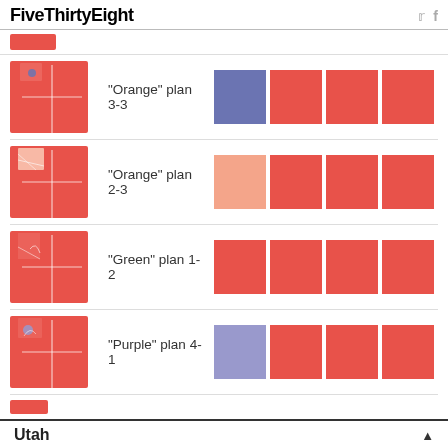FiveThirtyEight
[Figure (infographic): Utah state map shape filled red with district lines, "Orange" plan 3-3, seat boxes: 1 dark blue, 3 red]
"Orange" plan 3-3
[Figure (infographic): Utah state map shape filled red with district lines, "Orange" plan 2-3, seat boxes: 1 light pink, 3 red]
"Orange" plan 2-3
[Figure (infographic): Utah state map shape filled red with district lines, "Green" plan 1-2, seat boxes: 4 red]
"Green" plan 1-2
[Figure (infographic): Utah state map shape filled red with district lines, "Purple" plan 4-1, seat boxes: 1 purple-light, 3 red]
"Purple" plan 4-1
Utah ▲